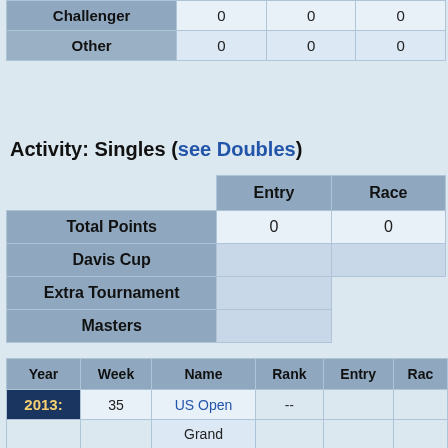|  |  |  |  |
| --- | --- | --- | --- |
| Challenger | 0 | 0 | 0 |
| Other | 0 | 0 | 0 |
Activity: Singles (see Doubles)
|  | Entry | Race |
| --- | --- | --- |
| Total Points | 0 | 0 |
| Davis Cup |  |  |
| Extra Tournament |  |  |
| Masters |  |  |
| Year | Week | Name | Rank | Entry | Race |
| --- | --- | --- | --- | --- | --- |
| 2013: | 35 | US Open | -- |  |  |
|  |  | Grand |  |  |  |